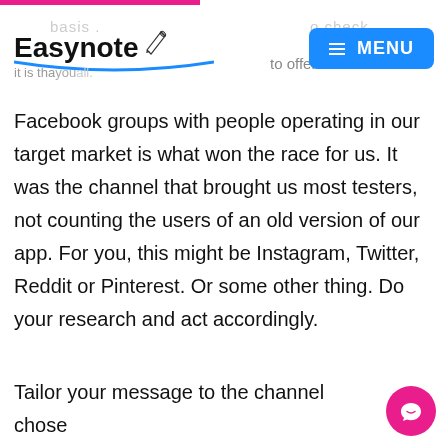Easynote — basis … to check … to offer. MENU
Facebook groups with people operating in our target market is what won the race for us. It was the channel that brought us most testers, not counting the users of an old version of our app. For you, this might be Instagram, Twitter, Reddit or Pinterest. Or some other thing. Do your research and act accordingly.
Tailor your message to the channel chosen